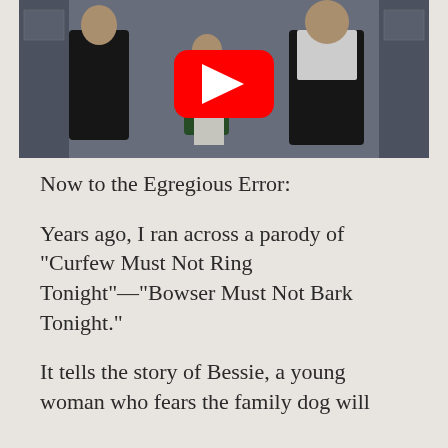[Figure (screenshot): A video thumbnail showing three people in what appears to be a retro TV studio or control room setting. A large red YouTube play button overlay is centered on the image.]
Now to the Egregious Error:
Years ago, I ran across a parody of "Curfew Must Not Ring Tonight"—"Bowser Must Not Bark Tonight."
It tells the story of Bessie, a young woman who fears the family dog will